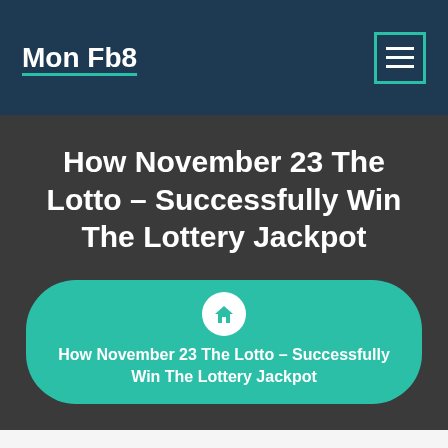Mon Fb8
How November 23 The Lotto – Successfully Win The Lottery Jackpot
How November 23 The Lotto – Successfully Win The Lottery Jackpot